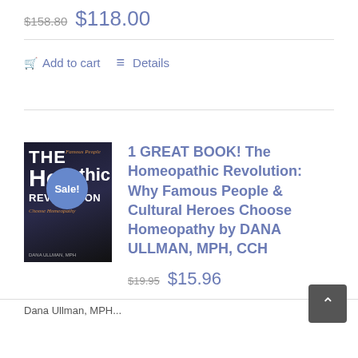$158.80  $118.00
Add to cart   Details
1 GREAT BOOK! The Homeopathic Revolution: Why Famous People & Cultural Heroes Choose Homeopathy by DANA ULLMAN, MPH, CCH
$19.95  $15.96